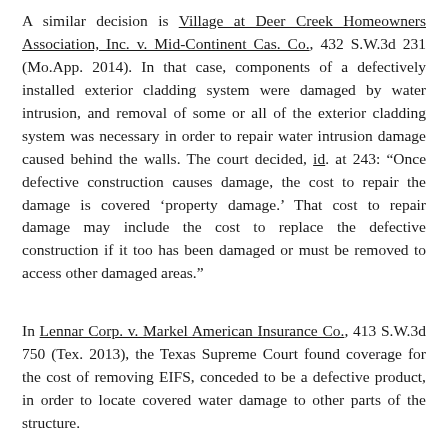A similar decision is Village at Deer Creek Homeowners Association, Inc. v. Mid-Continent Cas. Co., 432 S.W.3d 231 (Mo.App. 2014). In that case, components of a defectively installed exterior cladding system were damaged by water intrusion, and removal of some or all of the exterior cladding system was necessary in order to repair water intrusion damage caused behind the walls. The court decided, id. at 243: “Once defective construction causes damage, the cost to repair the damage is covered ‘property damage.’ That cost to repair damage may include the cost to replace the defective construction if it too has been damaged or must be removed to access other damaged areas.”
In Lennar Corp. v. Markel American Insurance Co., 413 S.W.3d 750 (Tex. 2013), the Texas Supreme Court found coverage for the cost of removing EIFS, conceded to be a defective product, in order to locate covered water damage to other parts of the structure.